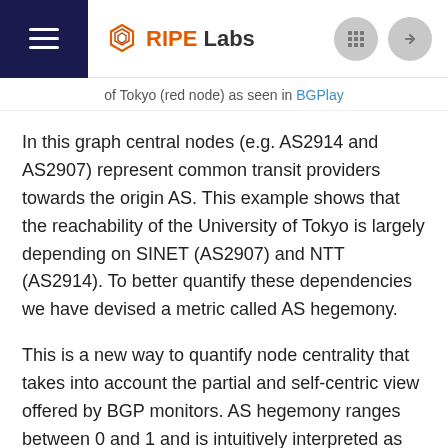RIPE Labs
of Tokyo (red node) as seen in BGPlay
In this graph central nodes (e.g. AS2914 and AS2907) represent common transit providers towards the origin AS. This example shows that the reachability of the University of Tokyo is largely depending on SINET (AS2907) and NTT (AS2914). To better quantify these dependencies we have devised a metric called AS hegemony.
This is a new way to quantify node centrality that takes into account the partial and self-centric view offered by BGP monitors. AS hegemony ranges between 0 and 1 and is intuitively interpreted as the average fraction of paths